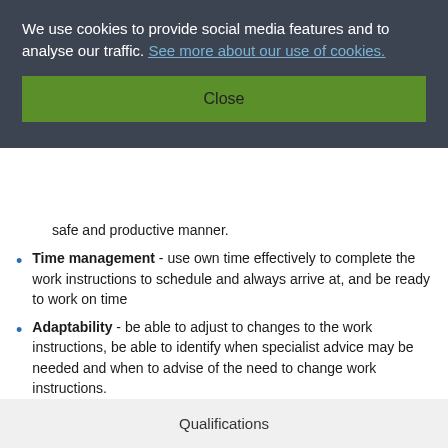We use cookies to provide social media features and to analyse our traffic. See more about our use of cookies.
Close
safe and productive manner.
Time management - use own time effectively to complete the work instructions to schedule and always arrive at, and be ready to work on time
Adaptability - be able to adjust to changes to the work instructions, be able to identify when specialist advice may be needed and when to advise of the need to change work instructions.
Risk Management - be able to resist pressures to follow unsafe working practices
Qualifications